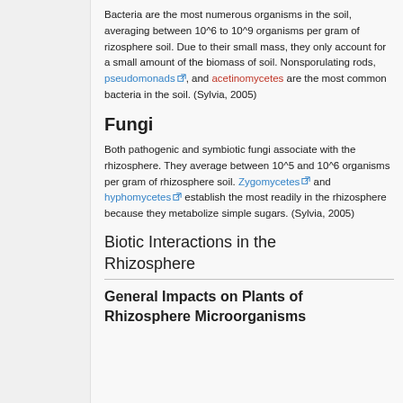Bacteria are the most numerous organisms in the soil, averaging between 10^6 to 10^9 organisms per gram of rizosphere soil. Due to their small mass, they only account for a small amount of the biomass of soil. Nonsporulating rods, pseudomonads, and acetinomycetes are the most common bacteria in the soil. (Sylvia, 2005)
Fungi
Both pathogenic and symbiotic fungi associate with the rhizosphere. They average between 10^5 and 10^6 organisms per gram of rhizosphere soil. Zygomycetes and hyphomycetes establish the most readily in the rhizosphere because they metabolize simple sugars. (Sylvia, 2005)
Biotic Interactions in the Rhizosphere
General Impacts on Plants of Rhizosphere Microorganisms